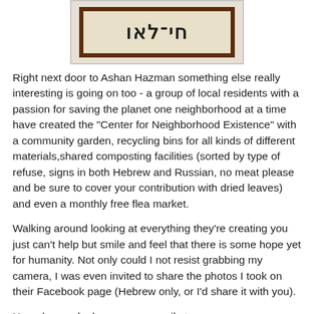[Figure (photo): A framed sign with Hebrew/Arabic text characters on a light beige board with dark brown frame, mounted on a white wall.]
Right next door to Ashan Hazman something else really interesting is going on too - a group of local residents with a passion for saving the planet one neighborhood at a time have created the "Center for Neighborhood Existence" with a community garden, recycling bins for all kinds of different materials,shared composting facilities (sorted by type of refuse, signs in both Hebrew and Russian, no meat please and be sure to cover your contribution with dried leaves) and even a monthly free flea market.
Walking around looking at everything they're creating you just can't help but smile and feel that there is some hope yet for humanity. Not only could I not resist grabbing my camera, I was even invited to share the photos I took on their Facebook page (Hebrew only, or I'd share it with you).
Here, have a look so you can smile too.